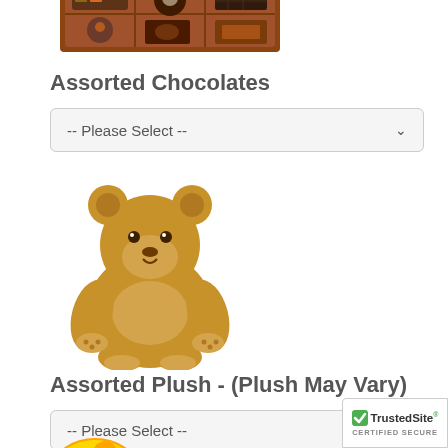[Figure (photo): Box of assorted chocolates, partially visible at top of page]
Assorted Chocolates
-- Please Select --
[Figure (photo): Plush teddy bear, brown, sitting upright]
Assorted Plush - (Plush May Vary)
-- Please Select --
[Figure (photo): Partially visible fruit/cookie item at bottom left]
[Figure (logo): TrustedSite Certified Secure badge, bottom right]